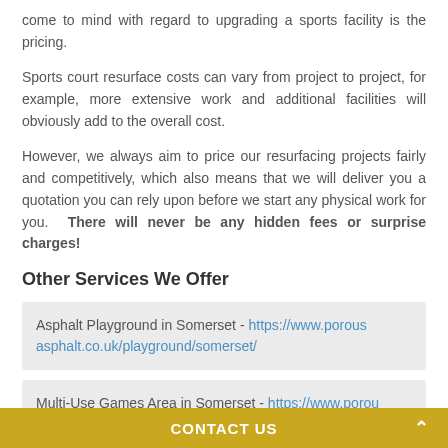come to mind with regard to upgrading a sports facility is the pricing.
Sports court resurface costs can vary from project to project, for example, more extensive work and additional facilities will obviously add to the overall cost.
However, we always aim to price our resurfacing projects fairly and competitively, which also means that we will deliver you a quotation you can rely upon before we start any physical work for you. There will never be any hidden fees or surprise charges!
Other Services We Offer
Asphalt Playground in Somerset - https://www.porousasphalt.co.uk/playground/somerset/
Multi-Use Games Area in Somerset - https://www.porousasphalt.co.uk/muga/somerset/
CONTACT US